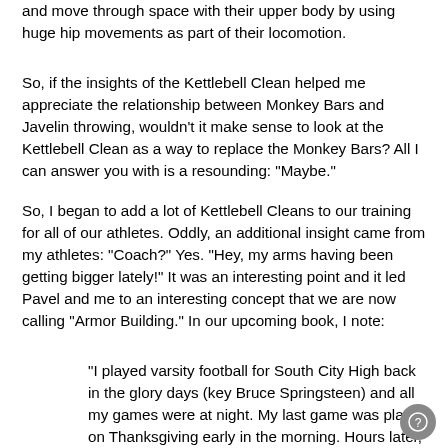and move through space with their upper body by using huge hip movements as part of their locomotion.
So, if the insights of the Kettlebell Clean helped me appreciate the relationship between Monkey Bars and Javelin throwing, wouldn't it make sense to look at the Kettlebell Clean as a way to replace the Monkey Bars? All I can answer you with is a resounding: "Maybe."
So, I began to add a lot of Kettlebell Cleans to our training for all of our athletes. Oddly, an additional insight came from my athletes: "Coach?" Yes. "Hey, my arms having been getting bigger lately!" It was an interesting point and it led Pavel and me to an interesting concept that we are now calling "Armor Building." In our upcoming book, I note:
"I played varsity football for South City High back in the glory days (key Bruce Springsteen) and all my games were at night. My last game was played on Thanksgiving early in the morning. Hours later, when I normally would've been asleep, we ate Thanksgiving dinner. I was simply amazed at how much pain my upper arms felt from the banging of a game. Since that time, I've bought into the idea of armor building for football